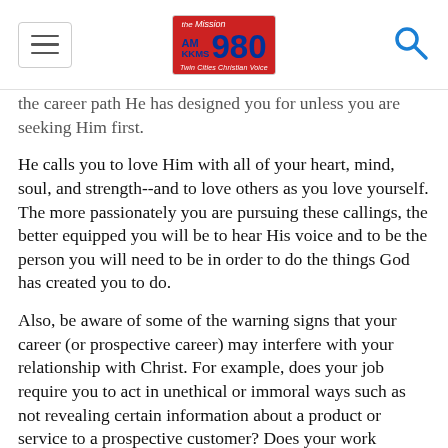the Mission AM 980 KKMS — Twin Cities Christian Voice
the career path He has designed you for unless you are seeking Him first.
He calls you to love Him with all of your heart, mind, soul, and strength--and to love others as you love yourself. The more passionately you are pursuing these callings, the better equipped you will be to hear His voice and to be the person you will need to be in order to do the things God has created you to do.
Also, be aware of some of the warning signs that your career (or prospective career) may interfere with your relationship with Christ. For example, does your job require you to act in unethical or immoral ways such as not revealing certain information about a product or service to a prospective customer? Does your work require you--or seduce you--to spend so much time at